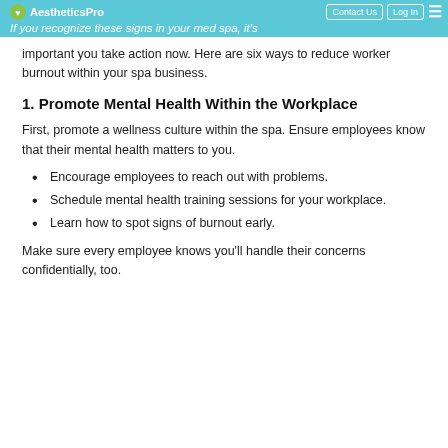AestheticsPro | Contact Us | Log In
If you recognize these signs in your med spa, it's
important you take action now. Here are six ways to reduce worker burnout within your spa business.
1. Promote Mental Health Within the Workplace
First, promote a wellness culture within the spa. Ensure employees know that their mental health matters to you.
Encourage employees to reach out with problems.
Schedule mental health training sessions for your workplace.
Learn how to spot signs of burnout early.
Make sure every employee knows you'll handle their concerns confidentially, too.